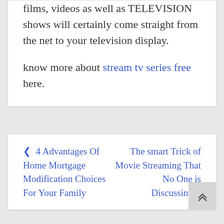films, videos as well as TELEVISION shows will certainly come straight from the net to your television display.
know more about stream tv series free here.
< 4 Advantages Of Home Mortgage Modification Choices For Your Family
The smart Trick of Movie Streaming That No One is Discussing >